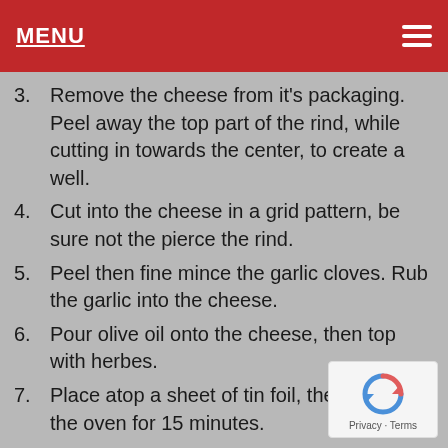MENU
3. Remove the cheese from it’s packaging. Peel away the top part of the rind, while cutting in towards the center, to create a well.
4. Cut into the cheese in a grid pattern, be sure not the pierce the rind.
5. Peel then fine mince the garlic cloves. Rub the garlic into the cheese.
6. Pour olive oil onto the cheese, then top with herbes.
7. Place atop a sheet of tin foil, then bake in the oven for 15 minutes.
8. Remove from the oven and add the onio… jam. Bake for another 5 minutes.